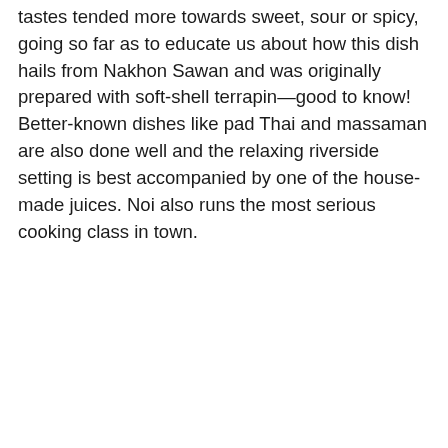tastes tended more towards sweet, sour or spicy, going so far as to educate us about how this dish hails from Nakhon Sawan and was originally prepared with soft-shell terrapin—good to know! Better-known dishes like pad Thai and massaman are also done well and the relaxing riverside setting is best accompanied by one of the house-made juices. Noi also runs the most serious cooking class in town.